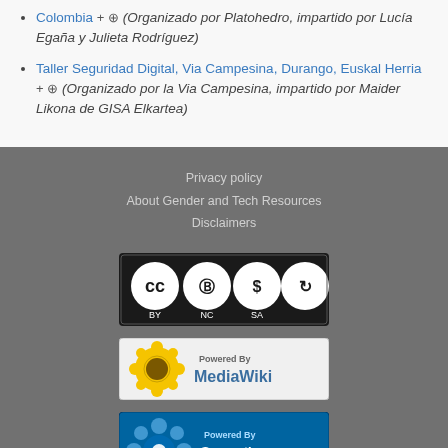Colombia + (Organizado por Platohedro, impartido por Lucía Egaña y Julieta Rodríguez)
Taller Seguridad Digital, Via Campesina, Durango, Euskal Herria + (Organizado por la Via Campesina, impartido por Maider Likona de GISA Elkartea)
Privacy policy | About Gender and Tech Resources | Disclaimers
[Figure (logo): Creative Commons BY-NC-SA license badge]
[Figure (logo): Powered by MediaWiki badge]
[Figure (logo): Powered by Semantic MediaWiki badge]